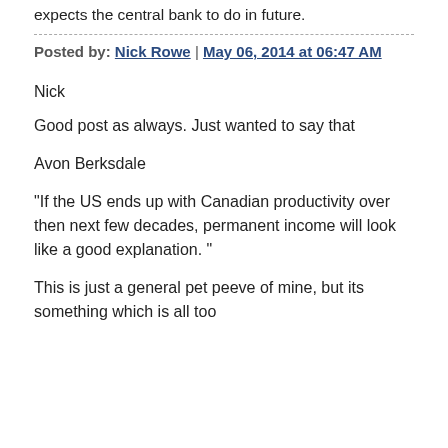expects the central bank to do in future.
Posted by: Nick Rowe | May 06, 2014 at 06:47 AM
Nick
Good post as always. Just wanted to say that
Avon Berksdale
"If the US ends up with Canadian productivity over then next few decades, permanent income will look like a good explanation. "
This is just a general pet peeve of mine, but its something which is all too